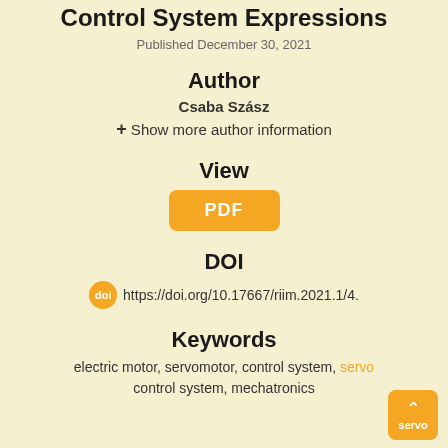Control System Expressions
Published December 30, 2021
Author
Csaba Szász
+ Show more author information
View
PDF
DOI
https://doi.org/10.17667/riim.2021.1/4.
Keywords
electric motor, servomotor, control system, servo control system, mechatronics